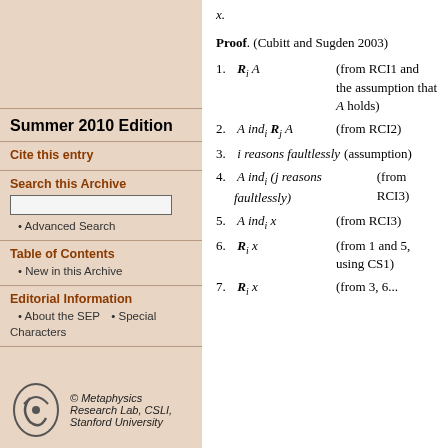x.
Proof. (Cubitt and Sugden 2003)
1. R_i A   (from RCI1 and the assumption that A holds)
2. A ind_i R_j A   (from RCI2)
3. i reasons faultlessly   (assumption)
4. A ind_i (j reasons faultlessly)   (from RCI3)
5. A ind_i x   (from RCI3)
6. R_i x   (from 1 and 5, using CS1)
7. R_i x   (from 3, 6...)
Summer 2010 Edition
Cite this entry
Search this Archive
Advanced Search
Table of Contents
New in this Archive
Editorial Information
About the SEP
Special Characters
© Metaphysics Research Lab, CSLI, Stanford University